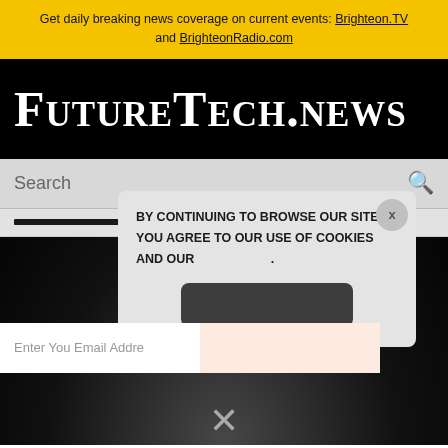Get daily breaking news coverage on current events: Brighteon.TV and BrighteonRadio.com
FUTURETECH.NEWS
[Figure (screenshot): Search bar with magnifying glass icon on gray background]
[Figure (screenshot): Cookie consent popup overlay with X close button, text 'BY CONTINUING TO BROWSE OUR SITE YOU AGREE TO OUR USE OF COOKIES AND OUR .', dark rounded button, and email input field with pink section]
BY CONTINUING TO BROWSE OUR SITE YOU AGREE TO OUR USE OF COOKIES AND OUR .
Enter Your Email Address